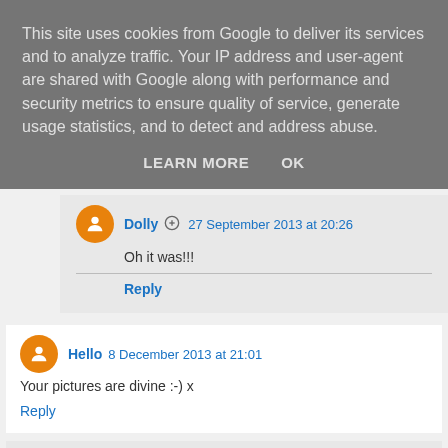This site uses cookies from Google to deliver its services and to analyze traffic. Your IP address and user-agent are shared with Google along with performance and security metrics to ensure quality of service, generate usage statistics, and to detect and address abuse.
LEARN MORE   OK
Dolly  27 September 2013 at 20:26
Oh it was!!!
Reply
Hello  8 December 2013 at 21:01
Your pictures are divine :-) x
Reply
▾ Replies